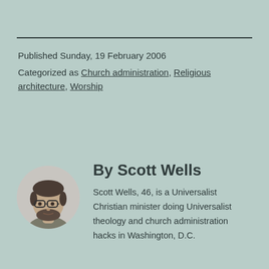Published Sunday, 19 February 2006
Categorized as Church administration, Religious architecture, Worship
[Figure (photo): Black and white circular portrait photo of Scott Wells, a man with glasses and a beard]
By Scott Wells
Scott Wells, 46, is a Universalist Christian minister doing Universalist theology and church administration hacks in Washington, D.C.